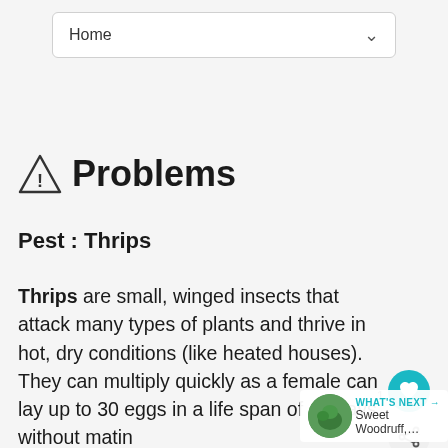[Figure (screenshot): Navigation dropdown bar showing 'Home' with a chevron/arrow icon]
⚠ Problems
Pest : Thrips
Thrips are small, winged insects that attack many types of plants and thrive in hot, dry conditions (like heated houses). They can multiply quickly as a female can lay up to 30 eggs in a life span of 45 days without mating. Most of the damage to plants is caused by the young larvae which feed on tender leaf and flower tissue. This leads to distorted growth, injured flower petals and premature flower